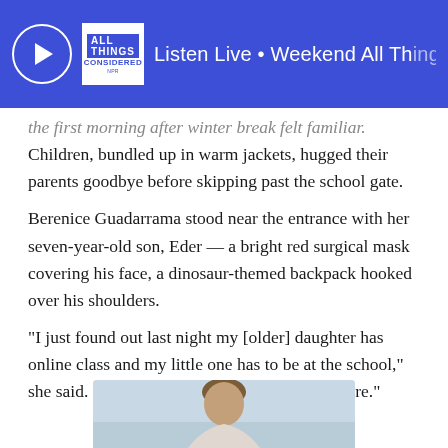Listen Live • Weekend All Things Considered
...the first morning after winter break felt familiar. Children, bundled up in warm jackets, hugged their parents goodbye before skipping past the school gate.
Berenice Guadarrama stood near the entrance with her seven-year-old son, Eder — a bright red surgical mask covering his face, a dinosaur-themed backpack hooked over his shoulders.
“I just found out last night my [older] daughter has online class and my little one has to be at the school,” she said. “So I was a little confused, but I’m here.”
[Figure (photo): Partial photo of a person visible at the bottom of the page, showing head and upper body against a light sky background]